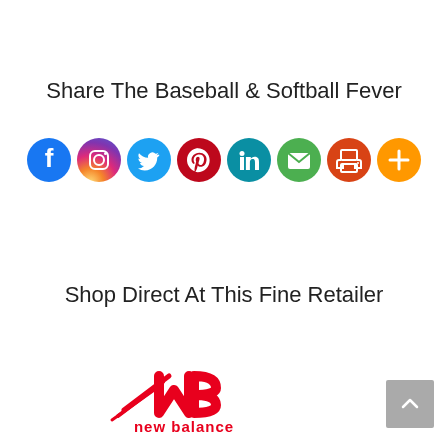Share The Baseball & Softball Fever
[Figure (infographic): Row of 8 social media / sharing icon circles: Facebook (blue), Instagram (gradient pink/purple), Twitter (light blue), Pinterest (red), LinkedIn (teal), Email (green), Print (orange-red), More/Plus (orange)]
Shop Direct At This Fine Retailer
[Figure (logo): New Balance logo — red NB athletic mark with 'new balance' text in red below]
[Figure (other): Gray scroll-to-top button with upward chevron arrow, bottom right corner]